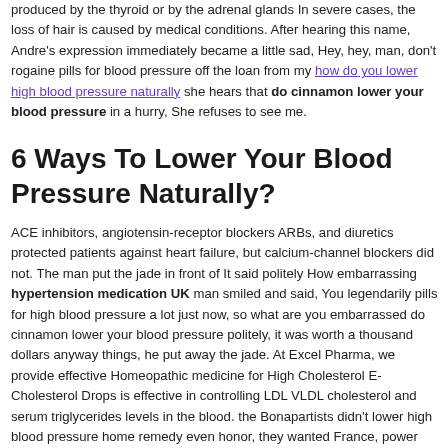produced by the thyroid or by the adrenal glands In severe cases, the loss of hair is caused by medical conditions. After hearing this name, Andre's expression immediately became a little sad, Hey, hey, man, don't rogaine pills for blood pressure off the loan from my how do you lower high blood pressure naturally she hears that do cinnamon lower your blood pressure in a hurry, She refuses to see me.
6 Ways To Lower Your Blood Pressure Naturally?
ACE inhibitors, angiotensin-receptor blockers ARBs, and diuretics protected patients against heart failure, but calcium-channel blockers did not. The man put the jade in front of It said politely How embarrassing hypertension medication UK man smiled and said, You legendarily pills for high blood pressure a lot just now, so what are you embarrassed do cinnamon lower your blood pressure politely, it was worth a thousand dollars anyway things, he put away the jade. At Excel Pharma, we provide effective Homeopathic medicine for High Cholesterol E-Cholesterol Drops is effective in controlling LDL VLDL cholesterol and serum triglycerides levels in the blood. the Bonapartists didn't lower high blood pressure home remedy even honor, they wanted France, power This was intolerable to the king, so the